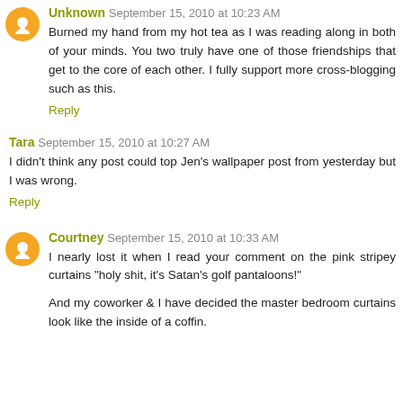Unknown September 15, 2010 at 10:23 AM
Burned my hand from my hot tea as I was reading along in both of your minds. You two truly have one of those friendships that get to the core of each other. I fully support more cross-blogging such as this.
Reply
Tara September 15, 2010 at 10:27 AM
I didn't think any post could top Jen's wallpaper post from yesterday but I was wrong.
Reply
Courtney September 15, 2010 at 10:33 AM
I nearly lost it when I read your comment on the pink stripey curtains "holy shit, it's Satan's golf pantaloons!"
And my coworker & I have decided the master bedroom curtains look like the inside of a coffin.